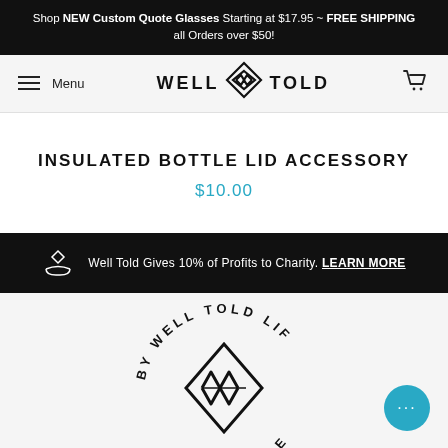Shop NEW Custom Quote Glasses Starting at $17.95 ~ FREE SHIPPING all Orders over $50!
[Figure (logo): Well Told brand logo with diamond/mountain icon between the words WELL and TOLD]
INSULATED BOTTLE LID ACCESSORY
$10.00
Well Told Gives 10% of Profits to Charity. LEARN MORE
[Figure (logo): Well Told Life circular logo with mountain/diamond emblem in the center, text curving around it reading BY WELL TOLD LIFE]